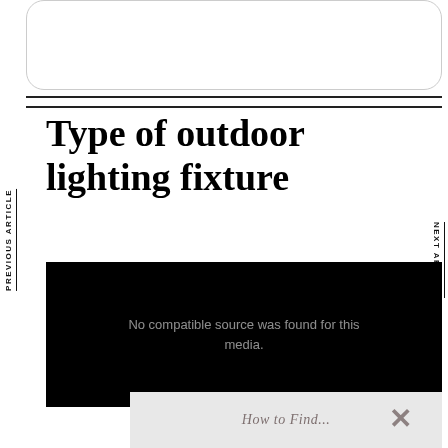[Figure (other): White rounded rectangle box at the top of the page, partially visible]
Type of outdoor lighting fixture
PREVIOUS ARTICLE
NEXT ARTICLE
[Figure (other): Black video player area with text 'No compatible source was found for this media.']
No compatible source was found for this media.
[Figure (other): Gray overlay strip at the bottom with italic text 'How to Find...' and a close X button]